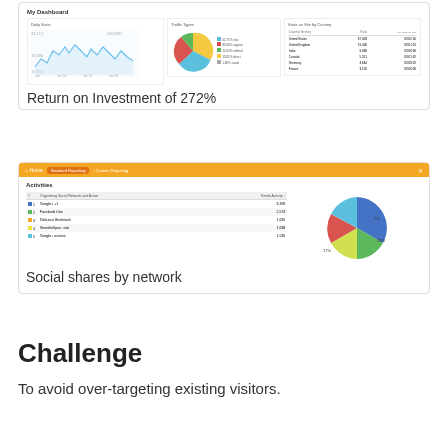[Figure (screenshot): Analytics dashboard screenshot showing Daily Visits line chart, Traffic Types pie chart, and Visits by Country table]
Return on Investment of 272%
[Figure (screenshot): Social sharing analytics dashboard screenshot with activity table and pie chart showing social shares by network (Google+1, Facebook like, Delicious Bookmark, StumbleUpon, Google+ actions)]
Social shares by network
Challenge
To avoid over-targeting existing visitors.